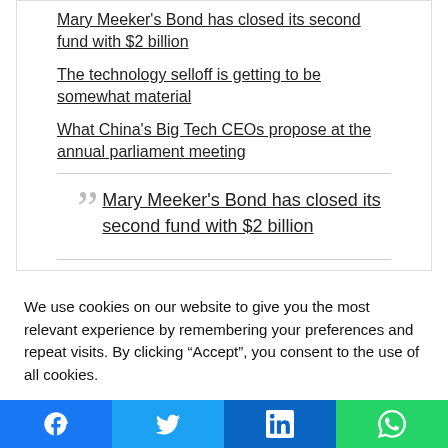Mary Meeker's Bond has closed its second fund with $2 billion
The technology selloff is getting to be somewhat material
What China's Big Tech CEOs propose at the annual parliament meeting
Mary Meeker's Bond has closed its second fund with $2 billion
We use cookies on our website to give you the most relevant experience by remembering your preferences and repeat visits. By clicking “Accept”, you consent to the use of all cookies.
Cookie settings | ACCEPT
[Figure (other): Social media share buttons: Facebook, Twitter, LinkedIn, WhatsApp]